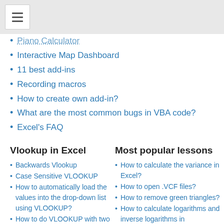[menu icon]
Piano Calculator
Interactive Map Dashboard
11 best add-ins
Recording macros
How to create own add-in?
What are the most common bugs in VBA code?
Excel's FAQ
Vlookup in Excel
Backwards Vlookup
Case Sensitive VLOOKUP
How to automatically load the values into the drop-down list using VLOOKUP?
How to do VLOOKUP with two criteria?
Most popular lessons
How to calculate the variance in Excel?
How to open .VCF files?
How to remove green triangles?
How to calculate logarithms and inverse logarithms in